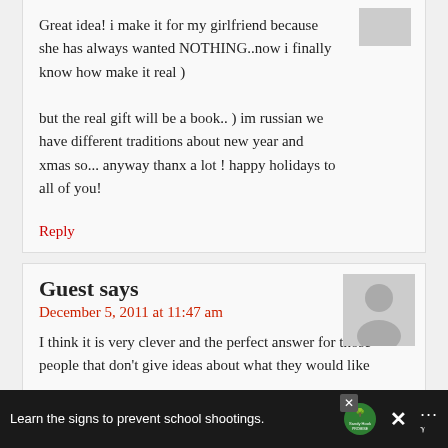Great idea! i make it for my girlfriend because she has always wanted NOTHING..now i finally know how make it real )
but the real gift will be a book.. ) im russian we have different traditions about new year and xmas so... anyway thanx a lot ! happy holidays to all of you!
Reply
Guest says
December 5, 2011 at 11:47 am
I think it is very clever and the perfect answer for those people that don't give ideas about what they would like
I can easily think of several people that I'll make it for
[Figure (other): Advertisement bar at bottom: 'Learn the signs to prevent school shootings.' Sandy Hook Promise logo, and other brand logos]